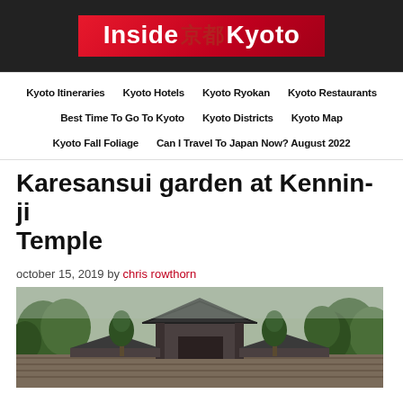Inside 京都 Kyoto
Kyoto Itineraries
Kyoto Hotels
Kyoto Ryokan
Kyoto Restaurants
Best Time To Go To Kyoto
Kyoto Districts
Kyoto Map
Kyoto Fall Foliage
Can I Travel To Japan Now? August 2022
Karesansui garden at Kennin-ji Temple
october 15, 2019 by chris rowthorn
[Figure (photo): Photograph of Kennin-ji Temple gate and rooftops with pine trees and grey sky]